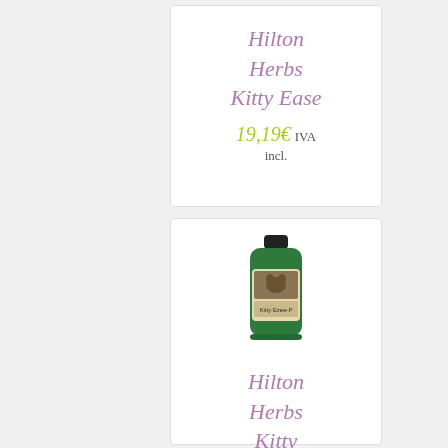Hilton Herbs Kitty Ease
19,19€ IVA incl.
[Figure (photo): Green bottle of Hilton Herbs Kitty Ezee-P supplement with black cap and product label showing a cat image]
Hilton Herbs Kitty Ezee-P